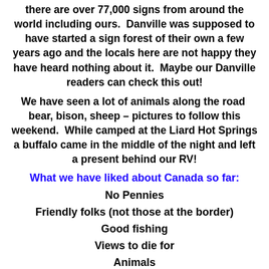there are over 77,000 signs from around the world including ours.  Danville was supposed to have started a sign forest of their own a few years ago and the locals here are not happy they have heard nothing about it.  Maybe our Danville readers can check this out!
We have seen a lot of animals along the road  bear, bison, sheep – pictures to follow this weekend.  While camped at the Liard Hot Springs a buffalo came in the middle of the night and left a present behind our RV!
What we have liked about Canada so far:
No Pennies
Friendly folks (not those at the border)
Good fishing
Views to die for
Animals